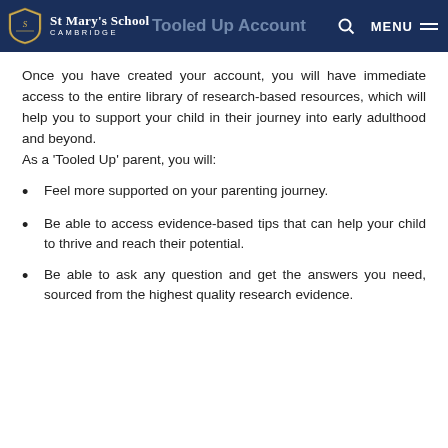St Mary's School CAMBRIDGE — Tooled Up Account — MENU
Once you have created your account, you will have immediate access to the entire library of research-based resources, which will help you to support your child in their journey into early adulthood and beyond.
As a 'Tooled Up' parent, you will:
Feel more supported on your parenting journey.
Be able to access evidence-based tips that can help your child to thrive and reach their potential.
Be able to ask any question and get the answers you need, sourced from the highest quality research evidence.